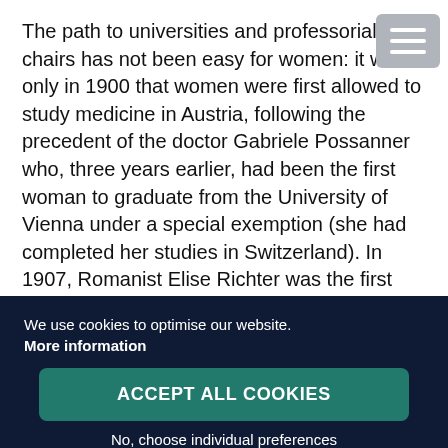The path to universities and professorial chairs has not been easy for women: it was only in 1900 that women were first allowed to study medicine in Austria, following the precedent of the doctor Gabriele Possanner who, three years earlier, had been the first woman to graduate from the University of Vienna under a special exemption (she had completed her studies in Switzerland). In 1907, Romanist Elise Richter was the first woman to gain a postdoctoral qualification at the University of Vienna; she was appointed associate professor in 1921. It
We use cookies to optimise our website.
More information
ACCEPT ALL COOKIES
No, choose individual preferences